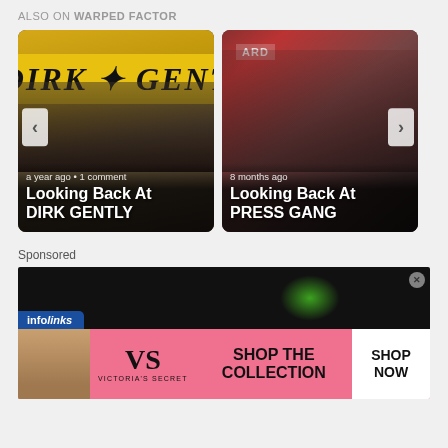ALSO ON WARPED FACTOR
[Figure (photo): Card thumbnail for 'Looking Back At DIRK GENTLY' article, with Dirk Gently banner in yellow/black and cast members. Meta: a year ago · 1 comment]
[Figure (photo): Card thumbnail for 'Looking Back At PRESS GANG' article, with group of young cast members in a newsroom. Meta: 8 months ago]
Sponsored
[Figure (screenshot): Advertisement block: top portion is dark background with green glow and infolinks badge. Bottom portion is Victoria's Secret pink banner ad with woman's face, VS logo, 'SHOP THE COLLECTION' text, and 'SHOP NOW' white button.]